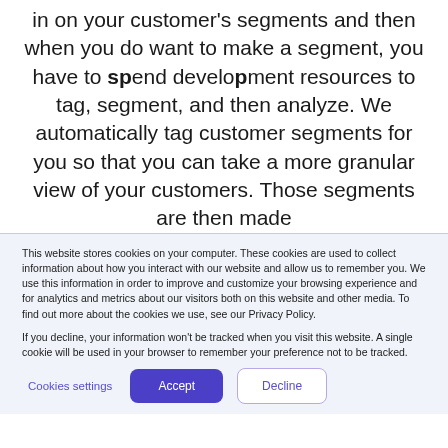in on your customer's segments and then when you do want to make a segment, you have to spend development resources to tag, segment, and then analyze. We automatically tag customer segments for you so that you can take a more granular view of your customers. Those segments are then made
This website stores cookies on your computer. These cookies are used to collect information about how you interact with our website and allow us to remember you. We use this information in order to improve and customize your browsing experience and for analytics and metrics about our visitors both on this website and other media. To find out more about the cookies we use, see our Privacy Policy.

If you decline, your information won't be tracked when you visit this website. A single cookie will be used in your browser to remember your preference not to be tracked.
Cookies settings | Accept | Decline